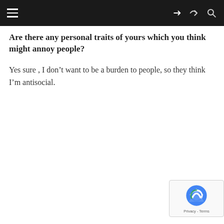Are there any personal traits of yours which you think might annoy people?
Yes sure , I don’t want to be a burden to people, so they think I’m antisocial.